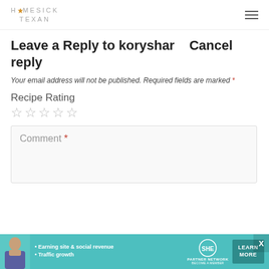HOMESICK TEXAN
Leave a Reply to koryshar   Cancel reply
Your email address will not be published. Required fields are marked *
Recipe Rating
☆☆☆☆☆
Comment *
[Figure (infographic): SHE Partner Network advertisement banner with photo, bullet points about earning site & social revenue and traffic growth, SHE logo, and a Learn More button]